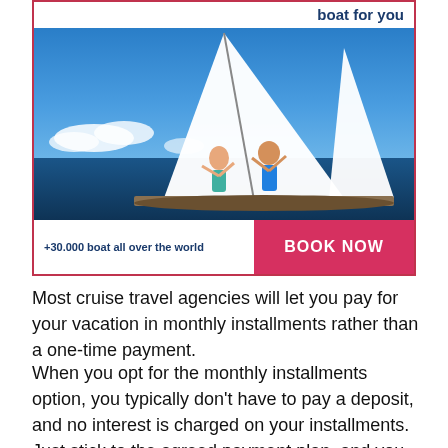[Figure (photo): Advertisement banner with sailboat photo showing two people on a sailing boat at sea, with a 'BOOK NOW' button and text '+30.000 boat all over the world'. Header text reads 'boat for you'.]
Most cruise travel agencies will let you pay for your vacation in monthly installments rather than a one-time payment.
When you opt for the monthly installments option, you typically don't have to pay a deposit, and no interest is charged on your installments. Just stick to the agreed payment plan, and you are good to go.